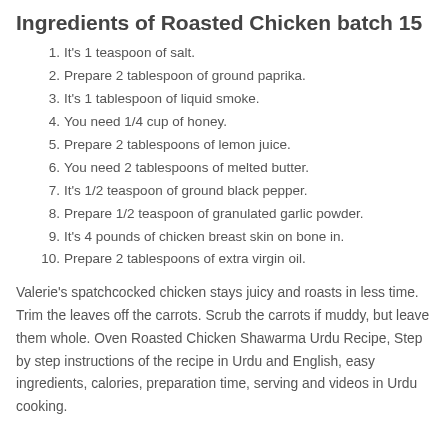Ingredients of Roasted Chicken batch 15
It's 1 teaspoon of salt.
Prepare 2 tablespoon of ground paprika.
It's 1 tablespoon of liquid smoke.
You need 1/4 cup of honey.
Prepare 2 tablespoons of lemon juice.
You need 2 tablespoons of melted butter.
It's 1/2 teaspoon of ground black pepper.
Prepare 1/2 teaspoon of granulated garlic powder.
It's 4 pounds of chicken breast skin on bone in.
Prepare 2 tablespoons of extra virgin oil.
Valerie's spatchcocked chicken stays juicy and roasts in less time. Trim the leaves off the carrots. Scrub the carrots if muddy, but leave them whole. Oven Roasted Chicken Shawarma Urdu Recipe, Step by step instructions of the recipe in Urdu and English, easy ingredients, calories, preparation time, serving and videos in Urdu cooking.